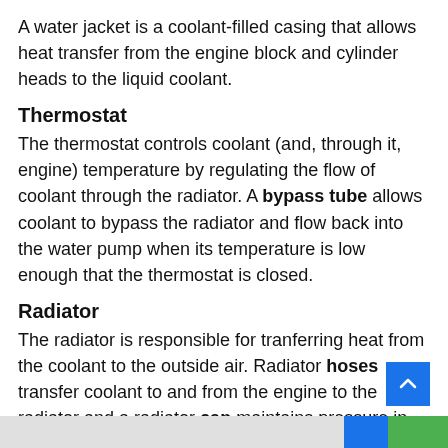A water jacket is a coolant-filled casing that allows heat transfer from the engine block and cylinder heads to the liquid coolant.
Thermostat
The thermostat controls coolant (and, through it, engine) temperature by regulating the flow of coolant through the radiator. A bypass tube allows coolant to bypass the radiator and flow back into the water pump when its temperature is low enough that the thermostat is closed.
Radiator
The radiator is responsible for tranferring heat from the coolant to the outside air. Radiator hoses transfer coolant to and from the engine to the radiator and a radiator cap maintains pressure in the cooling system to increase the boiling point of the coolant mixture and thus allow it to absorb more heat.